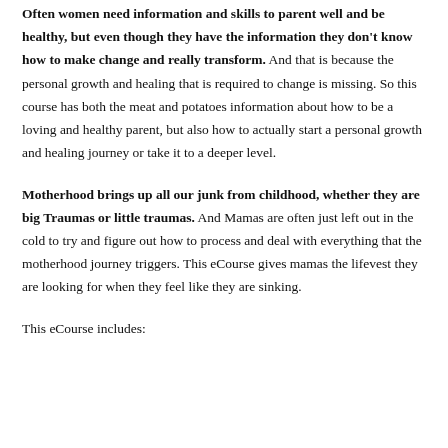Often women need information and skills to parent well and be healthy, but even though they have the information they don't know how to make change and really transform. And that is because the personal growth and healing that is required to change is missing. So this course has both the meat and potatoes information about how to be a loving and healthy parent, but also how to actually start a personal growth and healing journey or take it to a deeper level.
Motherhood brings up all our junk from childhood, whether they are big Traumas or little traumas. And Mamas are often just left out in the cold to try and figure out how to process and deal with everything that the motherhood journey triggers. This eCourse gives mamas the lifevest they are looking for when they feel like they are sinking.
This eCourse includes: